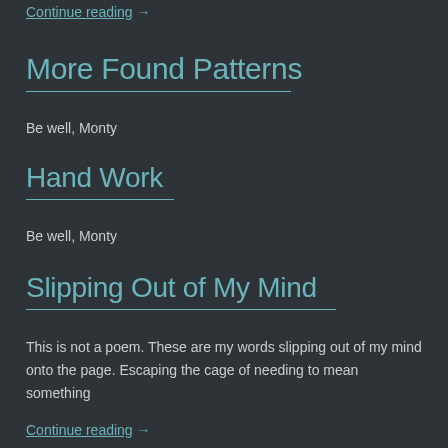Continue reading →
More Found Patterns
Be well, Monty
Hand Work
Be well, Monty
Slipping Out of My Mind
This is not a poem. These are my words slipping out of my mind onto the page. Escaping the cage of needing to mean something
Continue reading →